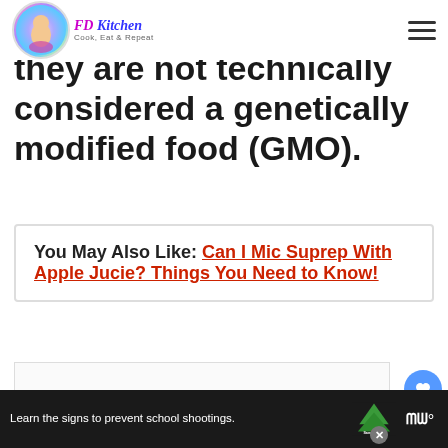FD Kitchen — Cook, Eat & Repeat
they are not technically considered a genetically modified food (GMO).
You May Also Like:  Can I Mic Suprep With Apple Jucie? Things You Need to Know!
ADVERTISEMENT
[Figure (other): Advertisement placeholder with three small grey squares]
[Figure (other): Bottom advertisement bar: Learn the signs to prevent school shootings. Sandy Hook Promise logo. Merriam-Webster logo.]